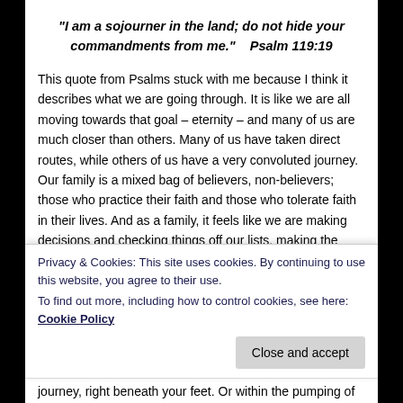“I am a sojourner in the land; do not hide your commandments from me.”    Psalm 119:19
This quote from Psalms stuck with me because I think it describes what we are going through. It is like we are all moving towards that goal – eternity – and many of us are much closer than others. Many of us have taken direct routes, while others of us have a very convoluted journey. Our family is a mixed bag of believers, non-believers; those who practice their faith and those who tolerate faith in their lives. And as a family, it feels like we are making decisions and checking things off our lists, making the pathway a little clearer. And I think that for the first time in my life, I am feeling the journey.
Privacy & Cookies: This site uses cookies. By continuing to use this website, you agree to their use.
To find out more, including how to control cookies, see here: Cookie Policy
Close and accept
journey, right beneath your feet. Or within the pumping of